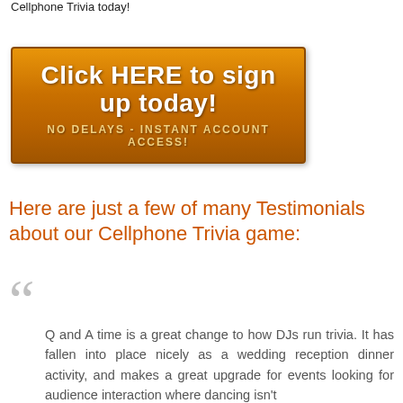Cellphone Trivia today!
[Figure (other): Orange gradient button banner reading 'Click HERE to sign up today!' with subtitle 'NO DELAYS - INSTANT ACCOUNT ACCESS!']
Here are just a few of many Testimonials about our Cellphone Trivia game:
Q and A time is a great change to how DJs run trivia. It has fallen into place nicely as a wedding reception dinner activity, and makes a great upgrade for events looking for audience interaction where dancing isn't